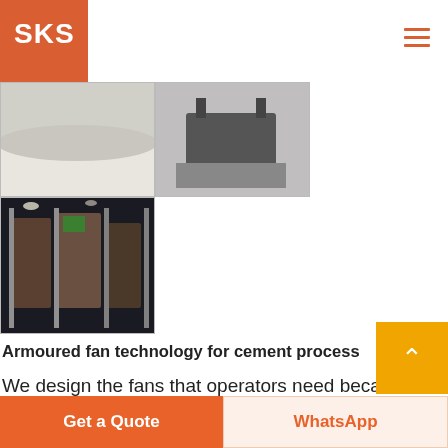SKS
[Figure (photo): Grid of industrial fan/machinery photos — top row: two photos showing powder/material and industrial equipment; bottom row: one photo of armoured fan equipment in factory setting]
Armoured fan technology for cement process
We design the fans that operators need because every technical development we introduce is based on our long working relationship with cement plant